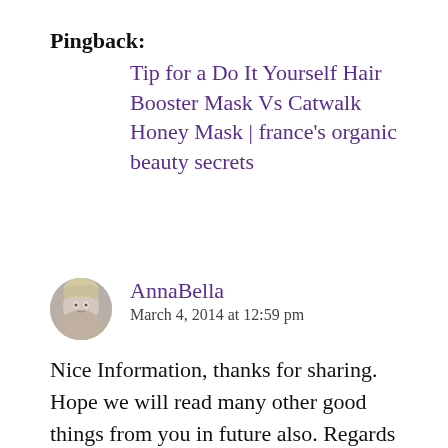Pingback: Tip for a Do It Yourself Hair Booster Mask Vs Catwalk Honey Mask | france's organic beauty secrets
AnnaBella
March 4, 2014 at 12:59 pm
Nice Information, thanks for sharing. Hope we will read many other good things from you in future also. Regards